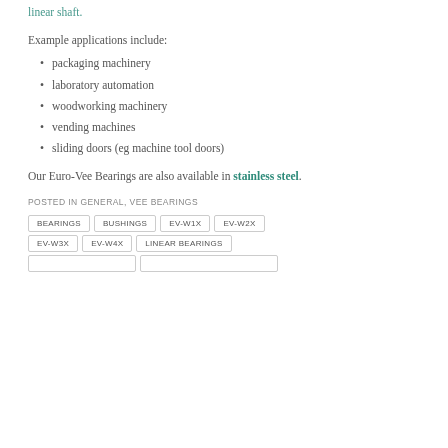linear shaft.
Example applications include:
packaging machinery
laboratory automation
woodworking machinery
vending machines
sliding doors (eg machine tool doors)
Our Euro-Vee Bearings are also available in stainless steel.
POSTED IN GENERAL, VEE BEARINGS
BEARINGS BUSHINGS EV-W1X EV-W2X EV-W3X EV-W4X LINEAR BEARINGS